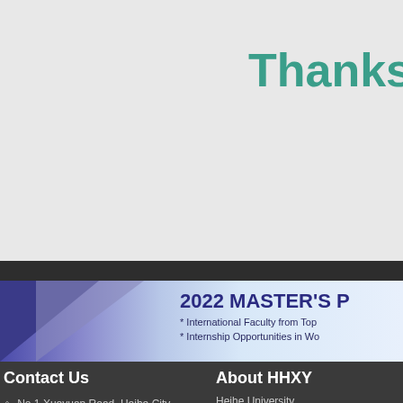Thanks
[Figure (illustration): Banner with geometric triangles in purple and blue shades, containing text about 2022 Master's program]
2022 MASTER'S
* International Faculty from Top
* Internship Opportunities in Wo
Contact Us
No.1 Xueyuan Road, Heihe City, Heilongjiang Province, P.R.C. 164399
About HHXY
Heihe University.
Heihe University | Copyright 2022 © hhxy.admissions.cn